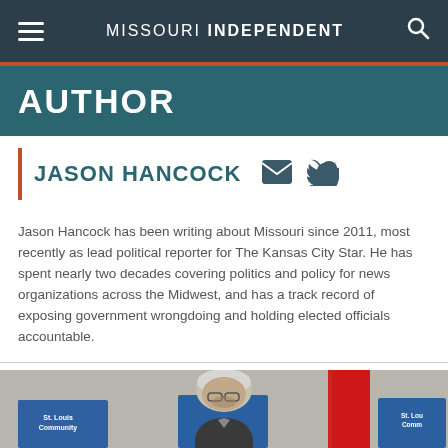MISSOURI INDEPENDENT
AUTHOR
JASON HANCOCK
Jason Hancock has been writing about Missouri since 2011, most recently as lead political reporter for The Kansas City Star. He has spent nearly two decades covering politics and policy for news organizations across the Midwest, and has a track record of exposing government wrongdoing and holding elected officials accountable.
[Figure (photo): Photo of a man with gray hair wearing glasses at a St. Louis Community College event, with a red flag visible in the background.]